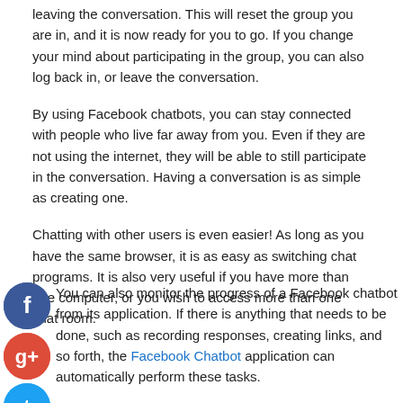leaving the conversation. This will reset the group you are in, and it is now ready for you to go. If you change your mind about participating in the group, you can also log back in, or leave the conversation.
By using Facebook chatbots, you can stay connected with people who live far away from you. Even if they are not using the internet, they will be able to still participate in the conversation. Having a conversation is as simple as creating one.
Chatting with other users is even easier! As long as you have the same browser, it is as easy as switching chat programs. It is also very useful if you have more than one computer, or you wish to access more than one chat room.
You can also monitor the progress of a Facebook chatbot from its application. If there is anything that needs to be done, such as recording responses, creating links, and so forth, the Facebook Chatbot application can automatically perform these tasks.
Posted in Business and Management | Tagged Chatbot Messenger, Facebook, Facebook Chatbot, Facebook Messenger Bot, Facebook Messenger Chatbot, Messenger Bot